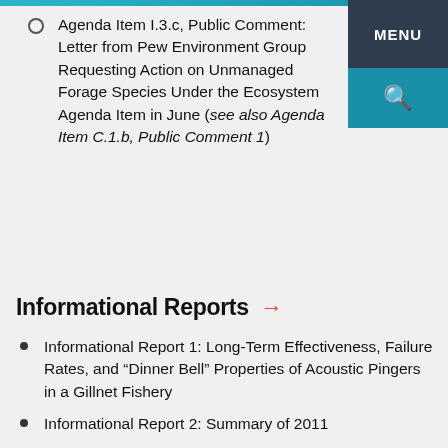Agenda Item I.3.c, Public Comment: Letter from Pew Environment Group Requesting Action on Unmanaged Forage Species Under the Ecosystem Agenda Item in June (see also Agenda Item C.1.b, Public Comment 1)
Informational Reports
Informational Report 1: Long-Term Effectiveness, Failure Rates, and "Dinner Bell" Properties of Acoustic Pingers in a Gillnet Fishery
Informational Report 2: Summary of 2011